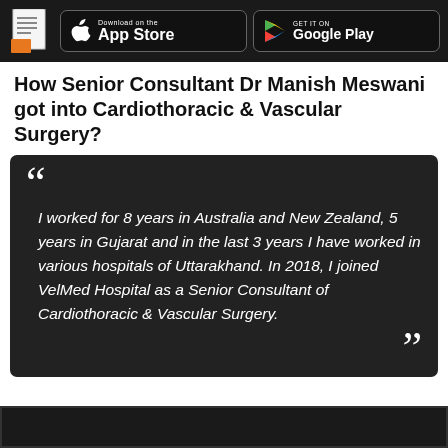App Store | Google Play
How Senior Consultant Dr Manish Meswani got into Cardiothoracic & Vascular Surgery?
I worked for 8 years in Australia and New Zealand, 5 years in Gujarat and in the last 3 years I have worked in various hospitals of Uttarakhand. In 2018, I joined VelMed Hospital as a Senior Consultant of Cardiothoracic & Vascular Surgery.